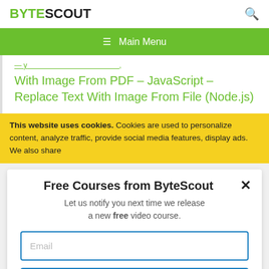BYTESCOUT
≡ Main Menu
With Image From PDF – JavaScript – Replace Text With Image From File (Node.js)
This website uses cookies. Cookies are used to personalize content, analyze traffic, provide social media features, display ads. We also share
Free Courses from ByteScout
Let us notify you next time we release a new free video course.
Email
SUBSCRIBE